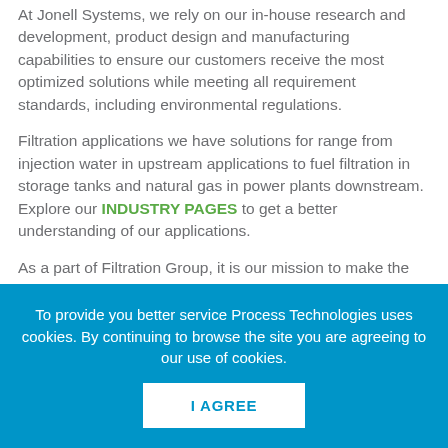At Jonell Systems, we rely on our in-house research and development, product design and manufacturing capabilities to ensure our customers receive the most optimized solutions while meeting all requirement standards, including environmental regulations.
Filtration applications we have solutions for range from injection water in upstream applications to fuel filtration in storage tanks and natural gas in power plants downstream. Explore our INDUSTRY PAGES to get a better understanding of our applications.
As a part of Filtration Group, it is our mission to make the world safer, healthier and more productive.
To provide you better service Process Technologies uses cookies. By continuing to browse the site you are agreeing to our use of cookies.